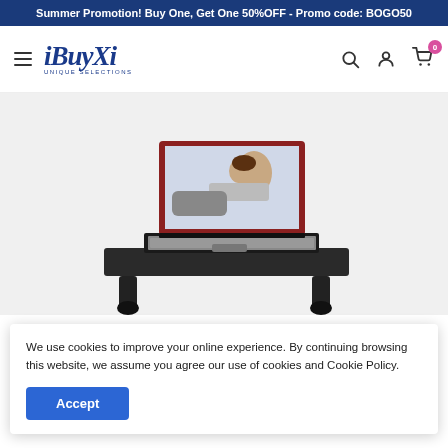Summer Promotion! Buy One, Get One 50%OFF - Promo code: BOGO50
[Figure (screenshot): iBuyXi e-commerce website navigation bar with hamburger menu icon, iBuyXi logo with 'Unique Selections' tagline, search icon, user account icon, and shopping cart icon with badge showing 0]
[Figure (photo): Product photo of a laptop computer on a portable adjustable desk stand/tray. The laptop screen shows an image of a woman lying on a bed using a laptop stand. The stand has wheels visible at the bottom.]
We use cookies to improve your online experience. By continuing browsing this website, we assume you agree our use of cookies and Cookie Policy.
Accept